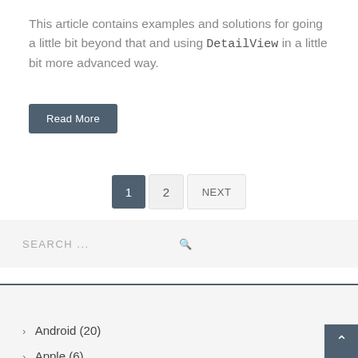This article contains examples and solutions for going a little bit beyond that and using DetailView in a little bit more advanced way.
Read More
1   2   NEXT
SEARCH ...
CATEGORIES
› Android (20)
› Apple (6)